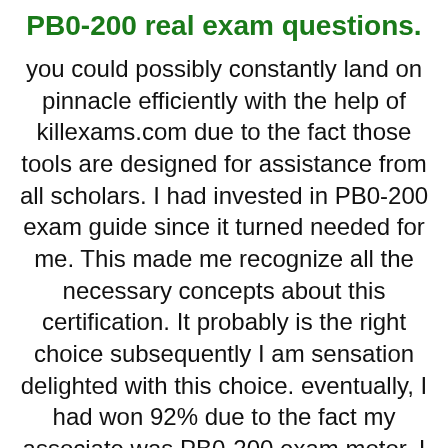PB0-200 real exam questions.
you could possibly constantly land on pinnacle efficiently with the help of killexams.com due to the fact those tools are designed for assistance from all scholars. I had invested in PB0-200 exam guide since it turned needed for me. This made me recognize all the necessary concepts about this certification. It probably is the right choice subsequently I am sensation delighted with this choice. eventually, I had won 92% due to the fact my associate was PB0-200 exam motor. I am real because those people products allowed me to inside the schooling of certification. thanks to really